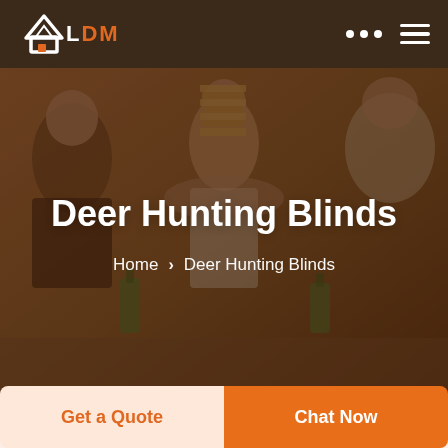LDM - navigation bar with logo, dots menu, hamburger menu
[Figure (photo): People sitting on the floor playing a Jenga tower game, warm toned photo with dark brown overlay]
Deer Hunting Blinds
Home > Deer Hunting Blinds
Get a Quote
Chat Now